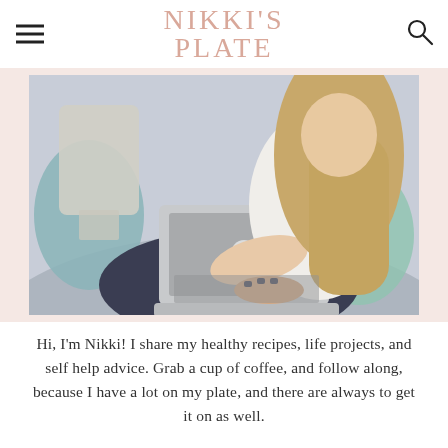NIKKI'S PLATE
[Figure (photo): Woman with long blonde hair sitting on a couch working on a MacBook laptop, wearing a white off-shoulder top and dark navy pants]
Hi, I'm Nikki! I share my healthy recipes, life projects, and self help advice. Grab a cup of coffee, and follow along, because I have a lot on my plate, and there are always to get it on as well.